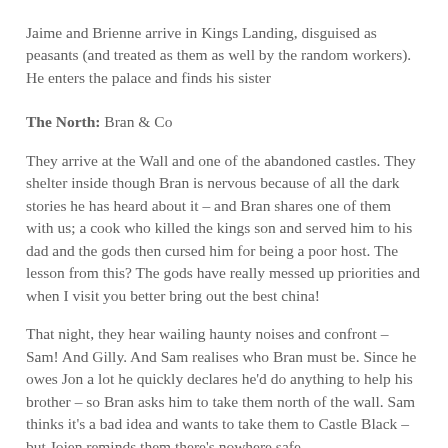Jaime and Brienne arrive in Kings Landing, disguised as peasants (and treated as them as well by the random workers). He enters the palace and finds his sister
The North: Bran & Co
They arrive at the Wall and one of the abandoned castles. They shelter inside though Bran is nervous because of all the dark stories he has heard about it – and Bran shares one of them with us; a cook who killed the kings son and served him to his dad and the gods then cursed him for being a poor host. The lesson from this? The gods have really messed up priorities and when I visit you better bring out the best china!
That night, they hear wailing haunty noises and confront – Sam! And Gilly. And Sam realises who Bran must be. Since he owes Jon a lot he quickly declares he'd do anything to help his brother – so Bran asks him to take them north of the wall. Sam thinks it's a bad idea and wants to take them to Castle Black – but Jojen reminds them there's nowhere safe